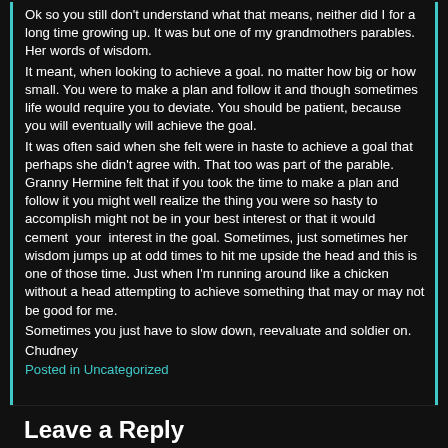Ok so you still don't understand what that means, neither did I for a long time growing up. It was but one of my grandmothers parables. Her words of wisdom.
It meant, when looking to achieve a goal. no matter how big or how small. You were to make a plan and follow it and though sometimes life would require you to deviate. You should be patient, because you will eventually will achieve the goal.
It was often said when she felt were in haste to achieve a goal that perhaps she didn't agree with. That too was part of the parable. Granny Hermine felt that if you took the time to make a plan and follow it you might well realize the thing you were so hasty to accomplish might not be in your best interest or that it would cement  your  interest in the goal. Sometimes, just sometimes her wisdom jumps up at odd times to hit me upside the head and this is one of those time. Just when I'm running around like a chicken without a head attempting to achieve something that may or may not be good for me.
Sometimes you just have to slow down, reevaluate and soldier on.
Chudney
Posted in Uncategorized
Leave a Reply